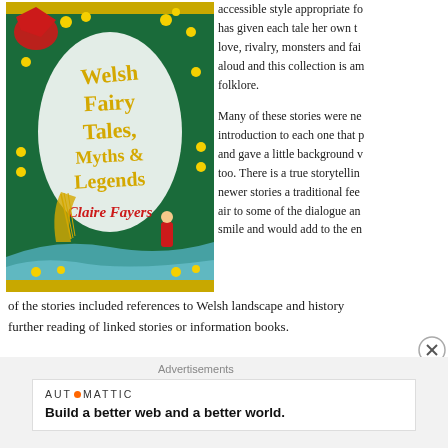[Figure (illustration): Book cover of 'Welsh Fairy Tales, Myths & Legends' by Claire Fayers, featuring colourful illustration of Welsh dragons, daffodils, harp, lighthouse and fairy tale characters]
accessible style appropriate fo... has given each tale her own t... love, rivalry, monsters and fai... aloud and this collection is am... folklore.
Many of these stories were ne... introduction to each one that p... and gave a little background v... too. There is a true storytellin... newer stories a traditional fee... air to some of the dialogue an... smile and would add to the en...
of the stories included references to Welsh landscape and history... further reading of linked stories or information books.
Advertisements
[Figure (screenshot): Automattic advertisement: Build a better web and a better world.]